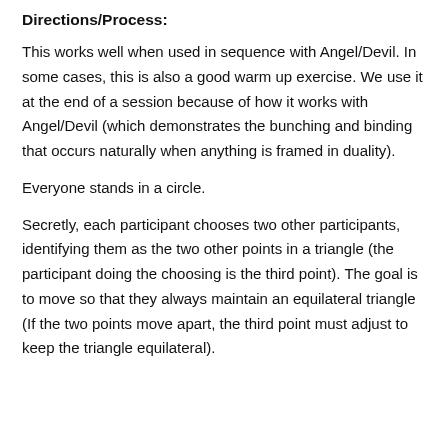Directions/Process:
This works well when used in sequence with Angel/Devil. In some cases, this is also a good warm up exercise. We use it at the end of a session because of how it works with Angel/Devil (which demonstrates the bunching and binding that occurs naturally when anything is framed in duality).
Everyone stands in a circle.
Secretly, each participant chooses two other participants, identifying them as the two other points in a triangle (the participant doing the choosing is the third point). The goal is to move so that they always maintain an equilateral triangle (If the two points move apart, the third point must adjust to keep the triangle equilateral).